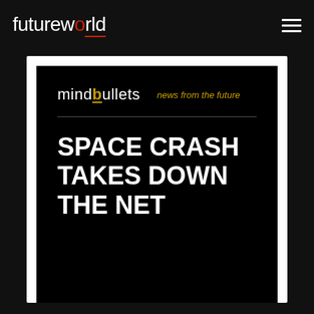futureworld
[Figure (screenshot): Mindbullets 'news from the future' card with headline 'SPACE CRASH TAKES DOWN THE NET' on black background]
SPACE CRASH TAKES DOWN THE NET